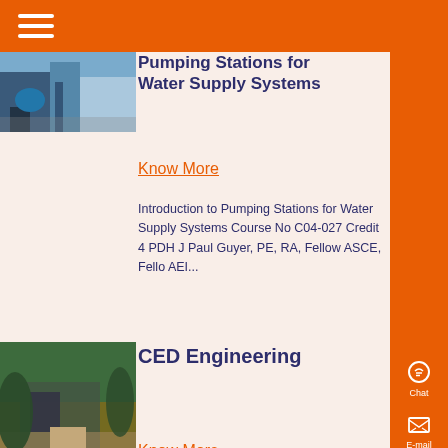Pumping Stations for Water Supply Systems
Know More
Introduction to Pumping Stations for Water Supply Systems Course No C04-027 Credit 4 PDH J Paul Guyer, PE, RA, Fellow ASCE, Fellow AEI...
[Figure (photo): Photo of pumping station equipment with blue machinery and worker]
[Figure (photo): Photo of CED Engineering building exterior with trees]
CED Engineering
Know More